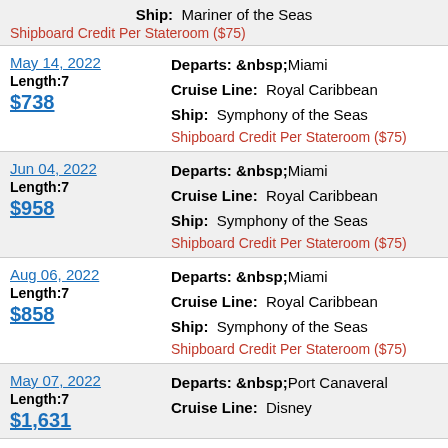Ship: Mariner of the Seas
Shipboard Credit Per Stateroom ($75)
May 14, 2022 | Length:7 | $738 | Departs: Miami | Cruise Line: Royal Caribbean | Ship: Symphony of the Seas | Shipboard Credit Per Stateroom ($75)
Jun 04, 2022 | Length:7 | $958 | Departs: Miami | Cruise Line: Royal Caribbean | Ship: Symphony of the Seas | Shipboard Credit Per Stateroom ($75)
Aug 06, 2022 | Length:7 | $858 | Departs: Miami | Cruise Line: Royal Caribbean | Ship: Symphony of the Seas | Shipboard Credit Per Stateroom ($75)
May 07, 2022 | Length:7 | $1,631 | Departs: Port Canaveral | Cruise Line: Disney